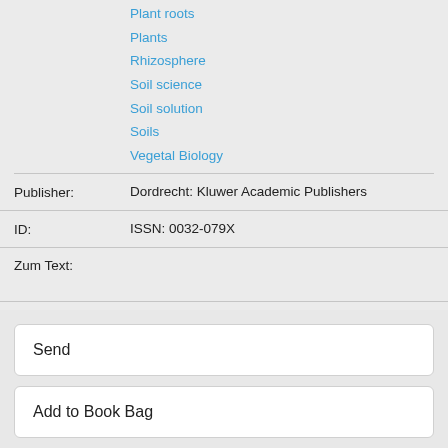Plant roots
Plants
Rhizosphere
Soil science
Soil solution
Soils
Vegetal Biology
Publisher: Dordrecht: Kluwer Academic Publishers
ID: ISSN: 0032-079X
Zum Text:
Send
Add to Book Bag
Staff View